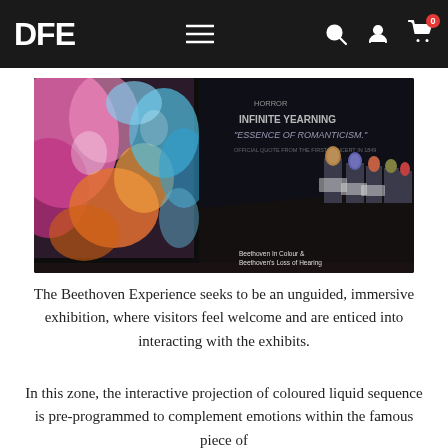DFE
[Figure (photo): Interior of an immersive exhibition hall with a large colourful liquid projection on the left wall showing pink, orange and blue swirling colours, and a row of lit pedestals with busts and information panels on the right side of a dark corridor. Text on the dark back wall reads about Romanticism and Beethoven.]
Beethoven In Colour &
Beethoven's Loss of Hearing
The Beethoven Experience seeks to be an unguided, immersive exhibition, where visitors feel welcome and are enticed into interacting with the exhibits.
In this zone, the interactive projection of coloured liquid sequence is pre-programmed to complement emotions within the famous piece of